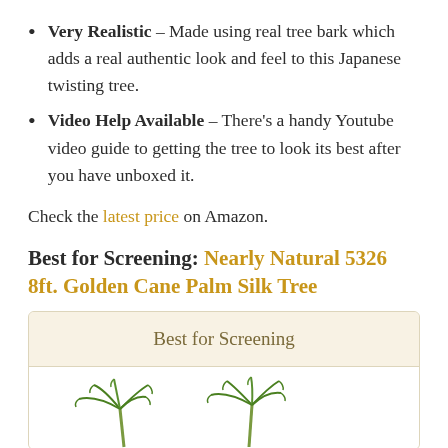Very Realistic – Made using real tree bark which adds a real authentic look and feel to this Japanese twisting tree.
Video Help Available – There's a handy Youtube video guide to getting the tree to look its best after you have unboxed it.
Check the latest price on Amazon.
Best for Screening: Nearly Natural 5326 8ft. Golden Cane Palm Silk Tree
[Figure (infographic): A beige/cream colored box labeled 'Best for Screening' with a white area below showing tops of green palm tree illustrations.]